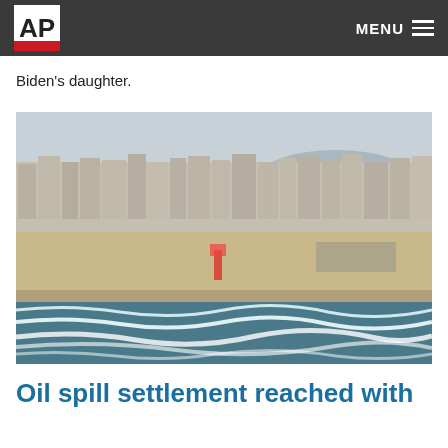AP | MENU
Biden's daughter.
[Figure (photo): Aerial view of a coastal city beach with ocean waves in the foreground, sandy beach, and dense urban residential and commercial buildings in the background under an overcast sky.]
Oil spill settlement reached with